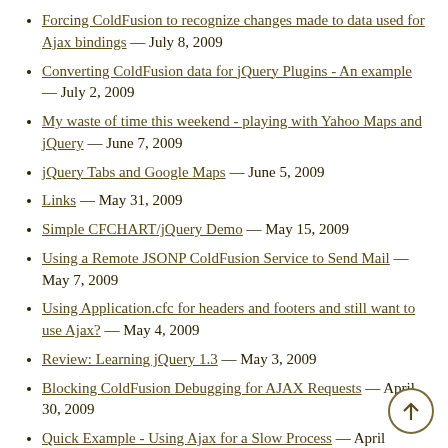Forcing ColdFusion to recognize changes made to data used for Ajax bindings — July 8, 2009
Converting ColdFusion data for jQuery Plugins - An example — July 2, 2009
My waste of time this weekend - playing with Yahoo Maps and jQuery — June 7, 2009
jQuery Tabs and Google Maps — June 5, 2009
Links — May 31, 2009
Simple CFCHART/jQuery Demo — May 15, 2009
Using a Remote JSONP ColdFusion Service to Send Mail — May 7, 2009
Using Application.cfc for headers and footers and still want to use Ajax? — May 4, 2009
Review: Learning jQuery 1.3 — May 3, 2009
Blocking ColdFusion Debugging for AJAX Requests — April 30, 2009
Quick Example - Using Ajax for a Slow Process — April